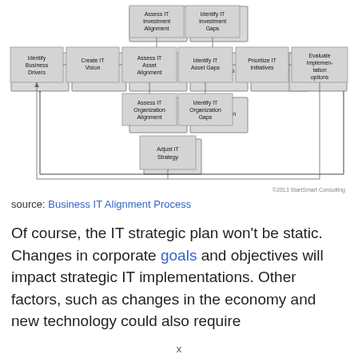[Figure (flowchart): Business IT Alignment Process flowchart showing steps: Identify Business Drivers, Create IT Vision, Assess IT Asset/Investment/Organization Alignment (3 rows), Identify IT Asset/Investment/Organization Gaps (3 rows), Prioritize IT Initiatives, Evaluate Implementation Options, Create Migration Plan, and a feedback loop through Adjust IT Strategy.]
source: Business IT Alignment Process
Of course, the IT strategic plan won't be static. Changes in corporate goals and objectives will impact strategic IT implementations. Other factors, such as changes in the economy and new technology could also require